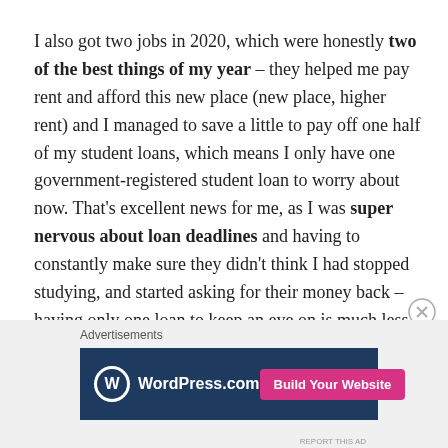I also got two jobs in 2020, which were honestly two of the best things of my year – they helped me pay rent and afford this new place (new place, higher rent) and I managed to save a little to pay off one half of my student loans, which means I only have one government-registered student loan to worry about now. That's excellent news for me, as I was super nervous about loan deadlines and having to constantly make sure they didn't think I had stopped studying, and started asking for their money back – having only one loan to keep an eye on is much less stressful!
[Figure (other): WordPress.com advertisement banner with logo on dark blue background and pink 'Build Your Website' button]